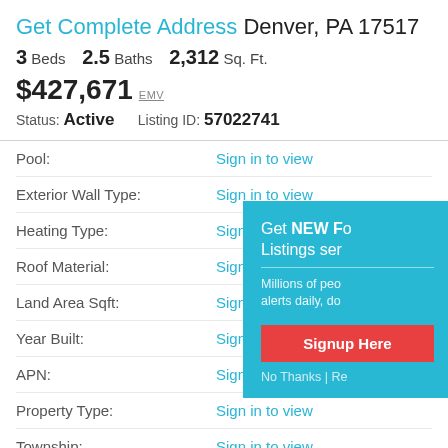Get Complete Address Denver, PA 17517
3 Beds   2.5 Baths   2,312 Sq. Ft.
$427,671 EMV
Status: Active   Listing ID: 57022741
Pool: Sign in to view
Exterior Wall Type: Sign in to view
Heating Type: Sign in to view
Roof Material: Sign in to view
Land Area Sqft: Sign in to view
Year Built: Sign in to view
APN: Sign in to view
Property Type: Sign in to view
Township: Sign in to view
Living Sqft: Sign in to view
Garage: Sign in to view